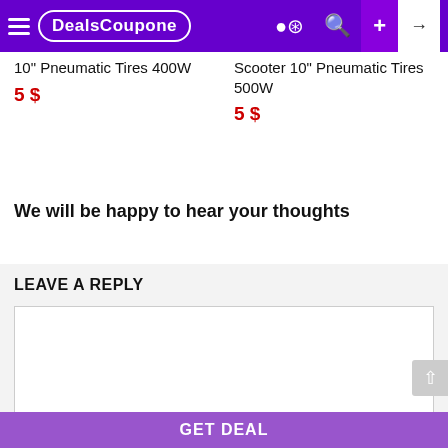DealsCoupone
10" Pneumatic Tires 400W
5 $
Scooter 10" Pneumatic Tires 500W
5 $
We will be happy to hear your thoughts
LEAVE A REPLY
GET DEAL